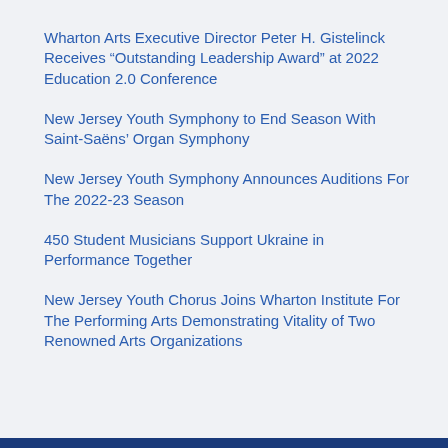Wharton Arts Executive Director Peter H. Gistelinck Receives “Outstanding Leadership Award” at 2022 Education 2.0 Conference
New Jersey Youth Symphony to End Season With Saint-Saëns’ Organ Symphony
New Jersey Youth Symphony Announces Auditions For The 2022-23 Season
450 Student Musicians Support Ukraine in Performance Together
New Jersey Youth Chorus Joins Wharton Institute For The Performing Arts Demonstrating Vitality of Two Renowned Arts Organizations